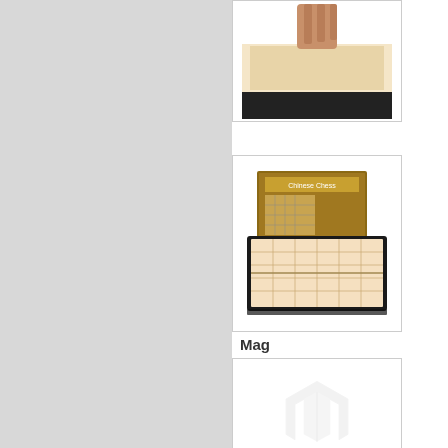[Figure (photo): Partial product image at top - appears to be a board game or similar product, showing a wooden/rubber edge, cropped at top]
[Figure (photo): Chinese Chess (Xiangqi) magnetic board game set with box. Box labeled 'Chinese Chess' in gold/brown color, with a folding magnetic board visible in front.]
Mag
Prod
Login
[Figure (photo): Product image placeholder showing a faint Magento logo (stylized M mark) in light gray on white background]
Ony
Prod
Login